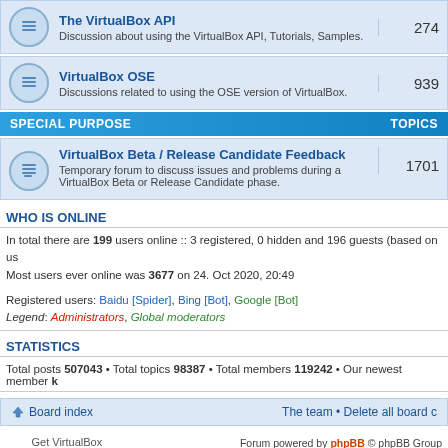| Forum | Topics |
| --- | --- |
| The VirtualBox API – Discussion about using the VirtualBox API, Tutorials, Samples. | 274 |
| VirtualBox OSE – Discussions related to using the OSE version of VirtualBox. | 939 |
SPECIAL PURPOSE    TOPICS
| Forum | Topics |
| --- | --- |
| VirtualBox Beta / Release Candidate Feedback – Temporary forum to discuss issues and problems during a VirtualBox Beta or Release Candidate phase. | 1701 |
WHO IS ONLINE
In total there are 199 users online :: 3 registered, 0 hidden and 196 guests (based on users active over the past 5 minutes)
Most users ever online was 3677 on 24. Oct 2020, 20:49
Registered users: Baidu [Spider], Bing [Bot], Google [Bot]
Legend: Administrators, Global moderators
STATISTICS
Total posts 507043 • Total topics 98387 • Total members 119242 • Our newest member k
Board index    The team • Delete all board c
Get VirtualBox
Forum powered by phpBB © phpBB Group
By any use of this Website, you agree to be bound b
Policies and Terms of Use